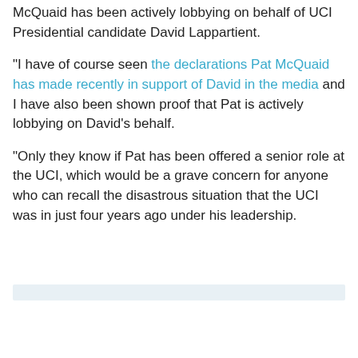McQuaid has been actively lobbying on behalf of UCI Presidential candidate David Lappartient.
"I have of course seen the declarations Pat McQuaid has made recently in support of David in the media and I have also been shown proof that Pat is actively lobbying on David's behalf.
"Only they know if Pat has been offered a senior role at the UCI, which would be a grave concern for anyone who can recall the disastrous situation that the UCI was in just four years ago under his leadership.